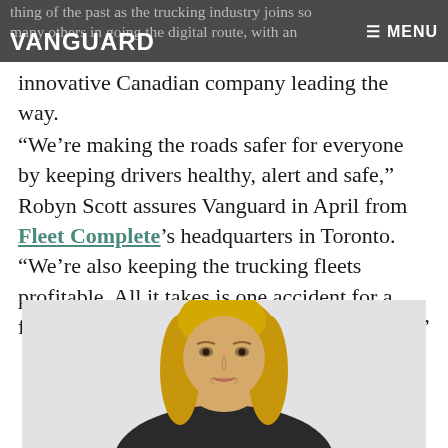VANGUARD ≡ MENU
thing of the past as the trucking industry joins so many others in going the digital route, with an innovative Canadian company leading the way.
“We’re making the roads safer for everyone by keeping drivers healthy, alert and safe,” Robyn Scott assures Vanguard in April from Fleet Complete’s headquarters in Toronto. “We’re also keeping the trucking fleets profitable. All it takes is one accident for a fleet to lose a lot of valuable time and money.”
[Figure (photo): Portrait photo of a blonde woman (Robyn Scott), cropped from shoulders up, against a light grey background.]